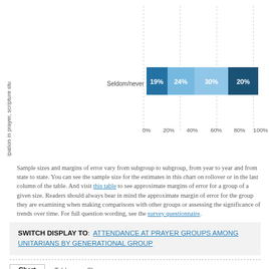[Figure (stacked-bar-chart): Seldom/never — participation in prayer, scripture study]
Sample sizes and margins of error vary from subgroup to subgroup, from year to year and from state to state. You can see the sample size for the estimates in this chart on rollover or in the last column of the table. And visit this table to see approximate margins of error for a group of a given size. Readers should always bear in mind the approximate margin of error for the group they are examining when making comparisons with other groups or assessing the significance of trends over time. For full question wording, see the survey questionnaire.
SWITCH DISPLAY TO: ATTENDANCE AT PRAYER GROUPS AMONG UNITARIANS BY GENERATIONAL GROUP